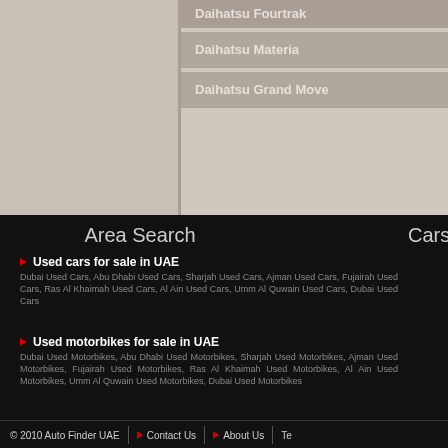Daihatsu Fourtrak
Daihatsu Materia
Daihatsu Grand Move
Area Search
Cars in D
Used cars for sale in UAE
Dubai Used Cars, Abu Dhabi Used Cars, Sharjah Used Cars, Ajman Used Cars, Fujairah Used Cars, Ras Al Khaimah Used Cars, Al Ain Used Cars, Umm Al Quwain Used Cars, Dubai Used Cars
Used cars for sale i
Used Audi, A3, A4, A5, A6, T, Used Chevrolet, Corvette, Lu, ES, Used Honda, Honda Civic, Corolla, Used Mercedes, Merc, Cayenne, Used Nissan, Niss, XKR, S-Type, Used VW, VW C, Vectra, Zafira, Used Peugeot, Clio, Laguna, Megane
Used motorbikes for sale in UAE
Dubai Used Motorbikes, Abu Dhabi Used Motorbikes, Sharjah Used Motorbikes, Ajman Used Motorbikes, Fujairah Used Motorbikes, Ras Al Khaimah Used Motorbikes, Al Ain Used Motorbikes, Umm Al Quwain Used Motorbikes, Dubai Used Motorbikes
Favourite Cars in D
Ferrari, Aston Martin, Lamborg, Mercedes, Chevrolet, Porsch, Nissan, Alfa Romeo, Vauxhall,
© 2010 Auto Finder UAE | Contact Us | About Us | Te